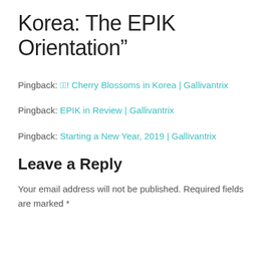Korea: The EPIK Orientation”
Pingback: ㅇㅇ! Cherry Blossoms in Korea | Gallivantrix
Pingback: EPIK in Review | Gallivantrix
Pingback: Starting a New Year, 2019 | Gallivantrix
Leave a Reply
Your email address will not be published. Required fields are marked *